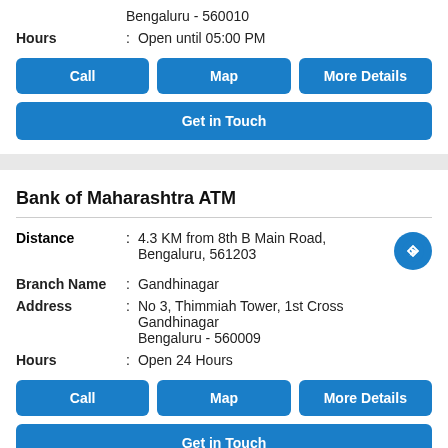Bengaluru - 560010
Hours : Open until 05:00 PM
Call | Map | More Details
Get in Touch
Bank of Maharashtra ATM
Distance : 4.3 KM from 8th B Main Road, Bengaluru, 561203
Branch Name : Gandhinagar
Address : No 3, Thimmiah Tower, 1st Cross Gandhinagar Bengaluru - 560009
Hours : Open 24 Hours
Call | Map | More Details
Get in Touch